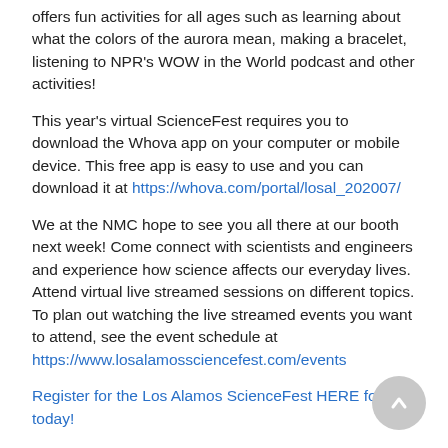offers fun activities for all ages such as learning about what the colors of the aurora mean, making a bracelet, listening to NPR's WOW in the World podcast and other activities!
This year's virtual ScienceFest requires you to download the Whova app on your computer or mobile device. This free app is easy to use and you can download it at https://whova.com/portal/losal_202007/
We at the NMC hope to see you all there at our booth next week! Come connect with scientists and engineers and experience how science affects our everyday lives. Attend virtual live streamed sessions on different topics. To plan out watching the live streamed events you want to attend, see the event schedule at https://www.losalamossciencefest.com/events
Register for the Los Alamos ScienceFest HERE for free today!